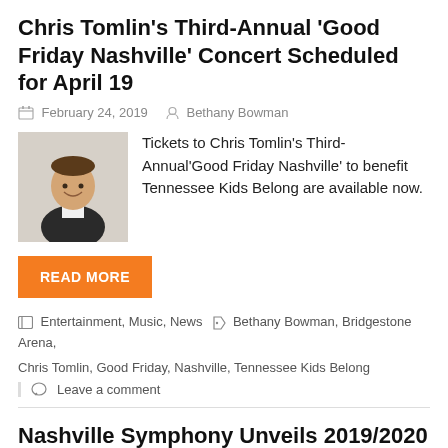Chris Tomlin's Third-Annual 'Good Friday Nashville' Concert Scheduled for April 19
February 24, 2019   Bethany Bowman
[Figure (photo): Headshot of Chris Tomlin, man in black jacket smiling against white background]
Tickets to Chris Tomlin's Third-Annual'Good Friday Nashville' to benefit Tennessee Kids Belong are available now.
READ MORE
Entertainment, Music, News   Bethany Bowman, Bridgestone Arena, Chris Tomlin, Good Friday, Nashville, Tennessee Kids Belong
Leave a comment
Nashville Symphony Unveils 2019/2020 Lineup
February 14, 2019   Bethany Bowman
[Figure (photo): Dark interior photo of a concert hall with audience]
Season tickets now available to events including Beethoven 250th birthday celebration